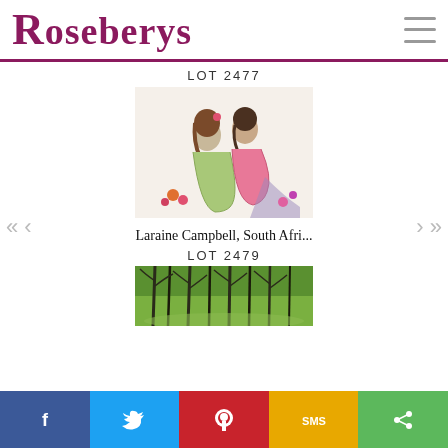Roseberys
LOT 2477
[Figure (illustration): Colored pencil drawing of two women seated together, one in green dress with flowers in hair, one in pink dress with back turned, flowers in foreground]
Laraine Campbell, South Afri...
LOT 2479
[Figure (illustration): Painting of green woodland scene with dark tree trunks and lush green foliage]
f  [Twitter]  [Pinterest]  SMS  [Share]